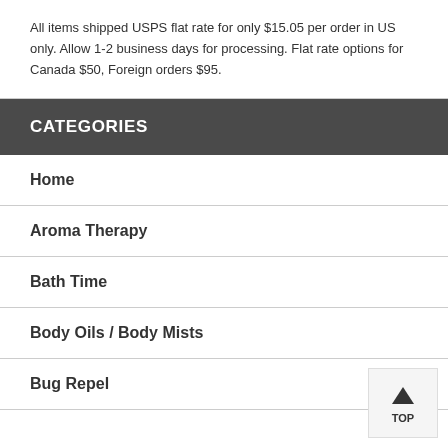All items shipped USPS flat rate for only $15.05 per order in US only. Allow 1-2 business days for processing. Flat rate options for Canada $50, Foreign orders $95.
CATEGORIES
Home
Aroma Therapy
Bath Time
Body Oils / Body Mists
Bug Repel